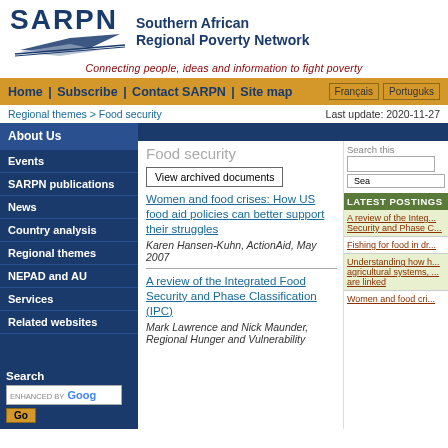[Figure (logo): SARPN logo with bird/airplane graphic and text 'Southern African Regional Poverty Network']
Connecting people, ideas and information to fight poverty
Home | Subscribe | Contact SARPN | Site map  Français  Portuguks
Regional themes > Food security   Last update: 2020-11-27
About Us
Events
SARPN publications
News
Country analysis
Regional themes
NEPAD and AU
Services
Related websites
Food security
View archived documents
Search this
Women and food crises: How US food aid policies can better support their struggles
Karen Hansen-Kuhn, ActionAid, May 2007
A review of the Integrated Food Security and Phase Classification (IPC)
Mark Lawrence and Nick Maunder, Regional Hunger and Vulnerability
LATEST POSTINGS
A review of the Integrated Food Security and Phase C...
Fishing for food in dr...
Understanding how h... agricultural systems, ... are linked
Women and food cri...
Search
ENHANCED BY Goog